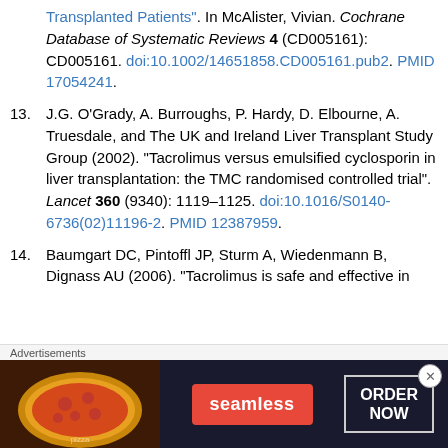Transplanted Patients". In McAlister, Vivian. Cochrane Database of Systematic Reviews 4 (CD005161): CD005161. doi:10.1002/14651858.CD005161.pub2. PMID 17054241.
13. J.G. O'Grady, A. Burroughs, P. Hardy, D. Elbourne, A. Truesdale, and The UK and Ireland Liver Transplant Study Group (2002). "Tacrolimus versus emulsified cyclosporin in liver transplantation: the TMC randomised controlled trial". Lancet 360 (9340): 1119–1125. doi:10.1016/S0140-6736(02)11196-2. PMID 12387959.
14. Baumgart DC, Pintoffl JP, Sturm A, Wiedenmann B, Dignass AU (2006). "Tacrolimus is safe and effective in
[Figure (other): Seamless food delivery advertisement banner with pizza image, Seamless logo button, and ORDER NOW button]